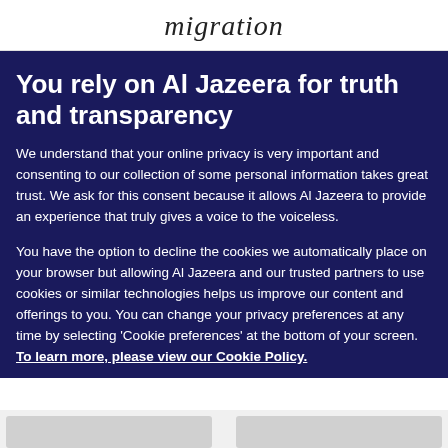migration
You rely on Al Jazeera for truth and transparency
We understand that your online privacy is very important and consenting to our collection of some personal information takes great trust. We ask for this consent because it allows Al Jazeera to provide an experience that truly gives a voice to the voiceless.
You have the option to decline the cookies we automatically place on your browser but allowing Al Jazeera and our trusted partners to use cookies or similar technologies helps us improve our content and offerings to you. You can change your privacy preferences at any time by selecting 'Cookie preferences' at the bottom of your screen. To learn more, please view our Cookie Policy.